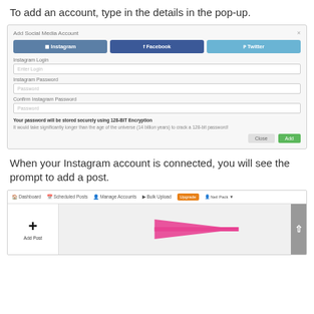To add an account, type in the details in the pop-up.
[Figure (screenshot): Screenshot of Add Social Media Account dialog with Instagram, Facebook, Twitter buttons, Instagram Login, Instagram Password, Confirm Instagram Password fields, security note, and Close/Add buttons]
When your Instagram account is connected, you will see the prompt to add a post.
[Figure (screenshot): Screenshot of social media scheduler dashboard showing navigation bar with Dashboard, Scheduled Posts, Manage Accounts, Bulk Upload, Upgrade, and user menu. Below shows a content area with a plus icon labeled Add Post and a pink arrow pointing to it.]